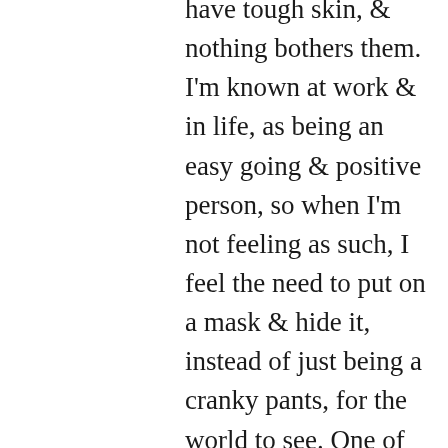have tough skin, & nothing bothers them. I'm known at work & in life, as being an easy going & positive person, so when I'm not feeling as such, I feel the need to put on a mask & hide it, instead of just being a cranky pants, for the world to see. One of the reasons why I love getting out there on my bike & laying down an 80km+ ride is the being alone part. I do enjoy the company too, but that alone time is great therapy, just me, the wind in my face, some good music, & maybe a big hill to bust my ass a bit!! I'm sure running gives you the same feelings, besides, aren't